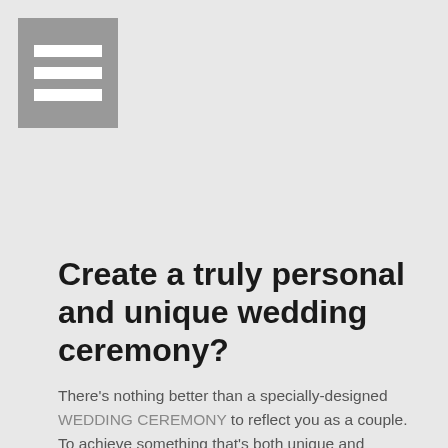[Figure (other): Hamburger menu icon: grey square background with three white horizontal bars]
Create a truly personal and unique wedding ceremony?
There’s nothing better than a specially-designed WEDDING CEREMONY to reflect you as a couple. To achieve something that’s both unique and personal to you, as individuals, it’s really worth talking to an experienced wedding Celebrant.